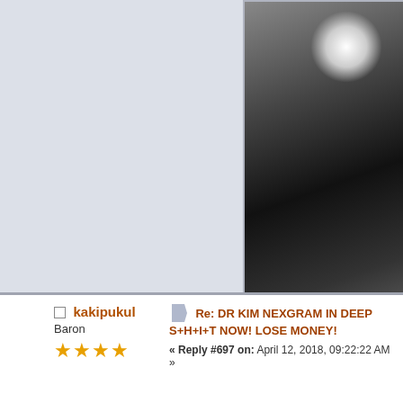[Figure (photo): Black and white photo showing a silhouetted figure with bright light source, partially cropped]
RUNNNNNNNNNNNNNNNNNNNNNNNNNNN🔥
BE GREEEEEEEEEEEEEEEEEEEEEEEE 🤝
OLY now TRAP with old fashioned DYI
🤫🤫💲💲💲
□ kakipukul
Baron
Re: DR KIM NEXGRAM IN DEEP S+H+I+T NOW! LOSE MONEY!
« Reply #697 on: April 12, 2018, 09:22:22 AM »